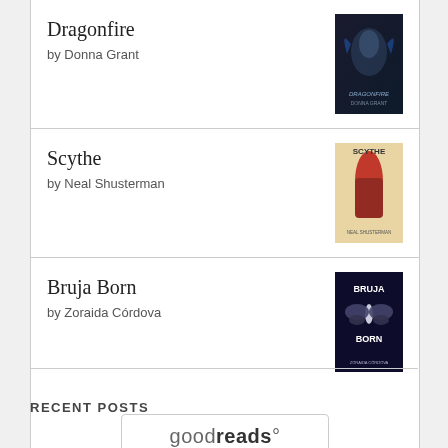Dragonfire by Donna Grant
Scythe by Neal Shusterman
Bruja Born by Zoraida Córdova
[Figure (logo): goodreads button/logo with rounded rectangle border]
RECENT POSTS